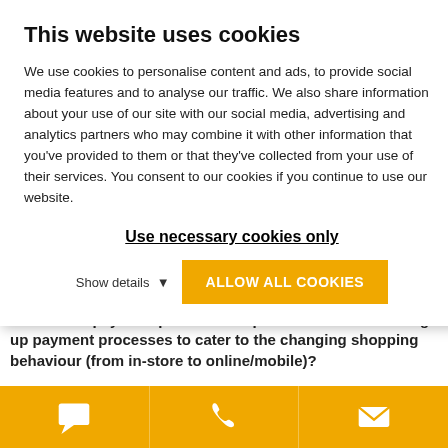This website uses cookies
We use cookies to personalise content and ads, to provide social media features and to analyse our traffic. We also share information about your use of our site with our social media, advertising and analytics partners who may combine it with other information that you've provided to them or that they've collected from your use of their services. You consent to our cookies if you continue to use our website.
Use necessary cookies only
Show details   ALLOW ALL COOKIES
4. How can payment providers help merchants with setting up payment processes to cater to the changing shopping behaviour (from in-store to online/mobile)?
Anna Bejaoui: EVO Payments is working hard to offer
[Figure (infographic): Bottom navigation bar with three icons on orange background: chat/speech bubble icon, phone icon, and email/envelope icon]